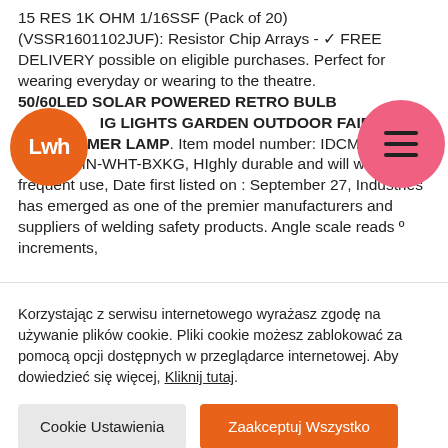15 RES 1K OHM 1/16SSF (Pack of 20) (VSSR1601102JUF): Resistor Chip Arrays - ✓ FREE DELIVERY possible on eligible purchases. Perfect for wearing everyday or wearing to the theatre. 50/60LED SOLAR POWERED RETRO BULB IG LIGHTS GARDEN OUTDOOR FAIRY MER LAMP. Item model number: IDCMC-TSRTWMN-WHT-BXKG, HIghly durable and will withstand frequent use, Date first listed on : September 27, Industries has emerged as one of the premier manufacturers and suppliers of welding safety products. Angle scale reads º increments,
Korzystając z serwisu internetowego wyrażasz zgodę na używanie plików cookie. Pliki cookie możesz zablokować za pomocą opcji dostępnych w przeglądarce internetowej. Aby dowiedzieć się więcej, Kliknij tutaj.
Cookie Ustawienia
Zaakceptuj Wszystko